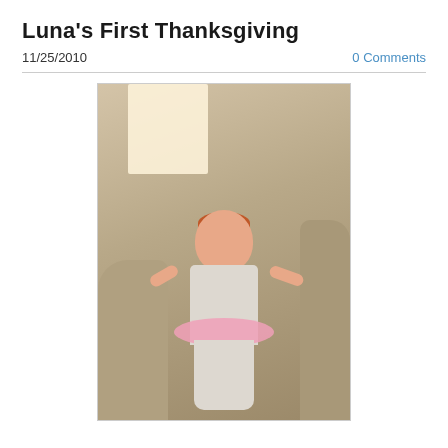Luna's First Thanksgiving
11/25/2010
0 Comments
[Figure (photo): A baby girl with red hair wearing a gray paisley outfit with pink tutu ruffles, standing on a couch cushion with arms raised, taken indoors on Thanksgiving 2010.]